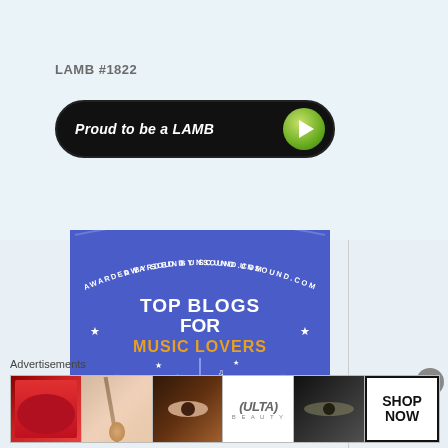LAMB #1822
[Figure (illustration): Dark rounded rectangle badge button with text 'Proud to be a LAMB' in white italic and a green circular play button on the right]
[Figure (illustration): Blue award badge with text 'AWARDED BY SOUND UNSOUND.COM TOP BLOGS FOR MUSIC LOVERS' with guitar and star decorations and orange star ratings on the sides]
Advertisements
[Figure (illustration): Advertisement banner strip showing beauty/cosmetics ads: red lips with lipstick, makeup brush, eye with makeup, ULTA Beauty logo, dark eye makeup, and SHOP NOW button]